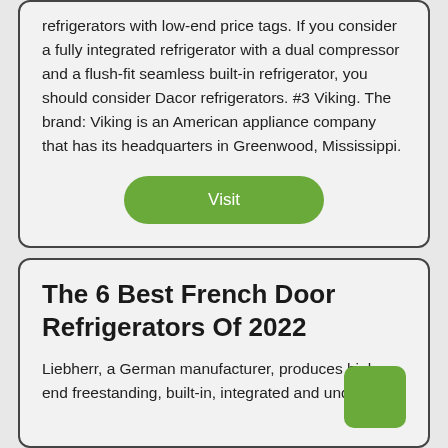refrigerators with low-end price tags. If you consider a fully integrated refrigerator with a dual compressor and a flush-fit seamless built-in refrigerator, you should consider Dacor refrigerators. #3 Viking. The brand: Viking is an American appliance company that has its headquarters in Greenwood, Mississippi.
Visit
The 6 Best French Door Refrigerators Of 2022
Liebherr, a German manufacturer, produces high-end freestanding, built-in, integrated and under-